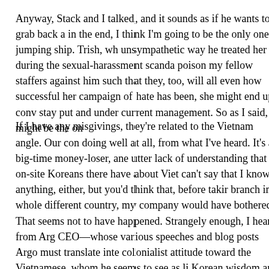Anyway, Stack and I talked, and it sounds as if he wants to grab back a in the end, I think I'm going to be the only one jumping ship. Trish, wh unsympathetic way he treated her during the sexual-harassment scanda poison my fellow staffers against him such that they, too, will all even how successful her campaign of hate has been, she might end up conv stay put and under current management. So as I said, I might be the on
If I have any misgivings, they're related to the Vietnam angle. Our con doing well at all, from what I've heard. It's a big-time money-loser, ane utter lack of understanding that on-site Koreans there have about Viet can't say that I know anything, either, but you'd think that, before takir branch in a whole different country, my company would have botherec That seems not to have happened. Strangely enough, I heard from Arg CEO—whose various speeches and blog posts Argo must translate inte colonialist attitude toward the Vietnamese, whom he seems to see as li Korean wisdom and savoir-faire. So while I'm happy to help Stack out see the endeavor itself as panning out in the long term. But maybe tha